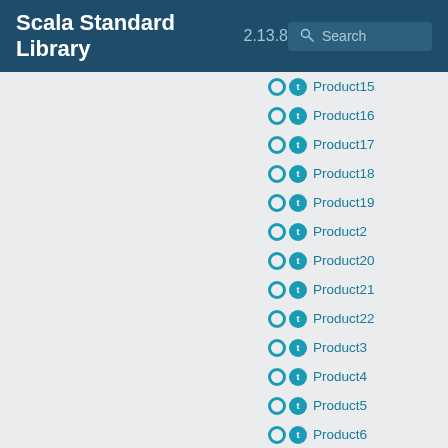Scala Standard Library 2.13.8
Product15
Product16
Product17
Product18
Product19
Product2
Product20
Product21
Product22
Product3
Product4
Product5
Product6
Product7
Product8
Product9
Proxy